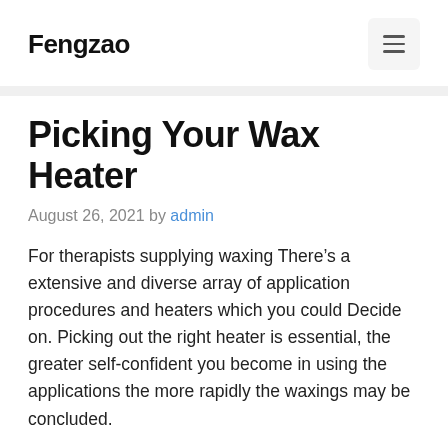Fengzao
Picking Your Wax Heater
August 26, 2021 by admin
For therapists supplying waxing There’s a extensive and diverse array of application procedures and heaters which you could Decide on. Picking out the right heater is essential, the greater self-confident you become in using the applications the more rapidly the waxings may be concluded.